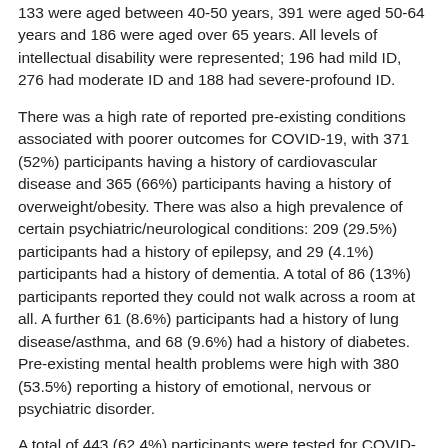133 were aged between 40-50 years, 391 were aged 50-64 years and 186 were aged over 65 years. All levels of intellectual disability were represented; 196 had mild ID, 276 had moderate ID and 188 had severe-profound ID.
There was a high rate of reported pre-existing conditions associated with poorer outcomes for COVID-19, with 371 (52%) participants having a history of cardiovascular disease and 365 (66%) participants having a history of overweight/obesity. There was also a high prevalence of certain psychiatric/neurological conditions: 209 (29.5%) participants had a history of epilepsy, and 29 (4.1%) participants had a history of dementia. A total of 86 (13%) participants reported they could not walk across a room at all. A further 61 (8.6%) participants had a history of lung disease/asthma, and 68 (9.6%) had a history of diabetes. Pre-existing mental health problems were high with 380 (53.5%) reporting a history of emotional, nervous or psychiatric disorder.
A total of 443 (62.4%) participants were tested for COVID-19 with 71 (10%) reporting COVID-19-like symptoms and 11 (2.5%) testing positive.
For those 11 participants who tested positive, the common